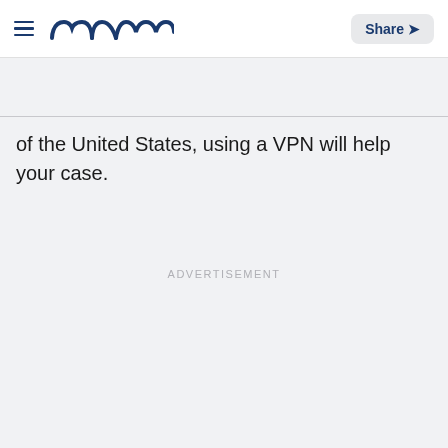Meaww | Share
of the United States, using a VPN will help your case.
ADVERTISEMENT